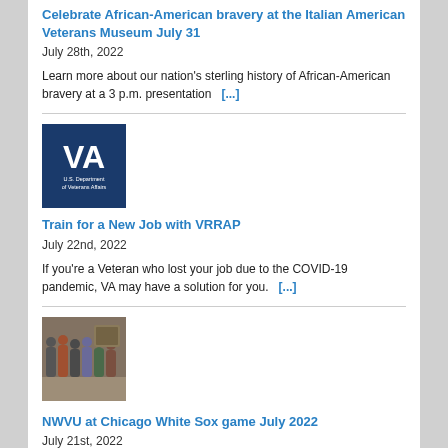Celebrate African-American bravery at the Italian American Veterans Museum July 31
July 28th, 2022
Learn more about our nation's sterling history of African-American bravery at a 3 p.m. presentation  [...]
[Figure (logo): U.S. Department of Veterans Affairs logo — blue square with white VA letters]
Train for a New Job with VRRAP
July 22nd, 2022
If you're a Veteran who lost your job due to the COVID-19 pandemic, VA may have a solution for you.  [...]
[Figure (photo): Group photo of people at an event]
NWVU at Chicago White Sox game July 2022
July 21st, 2022